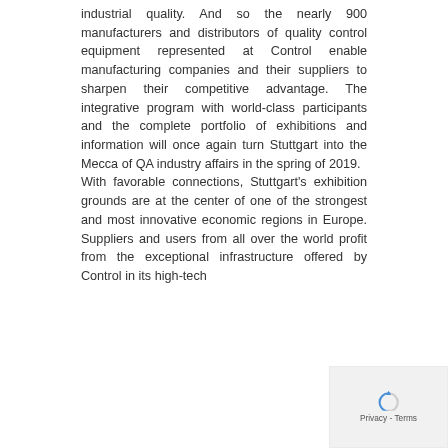industrial quality. And so the nearly 900 manufacturers and distributors of quality control equipment represented at Control enable manufacturing companies and their suppliers to sharpen their competitive advantage. The integrative program with world-class participants and the complete portfolio of exhibitions and information will once again turn Stuttgart into the Mecca of QA industry affairs in the spring of 2019.
With favorable connections, Stuttgart's exhibition grounds are at the center of one of the strongest and most innovative economic regions in Europe. Suppliers and users from all over the world profit from the exceptional infrastructure offered by Control in its high-tech